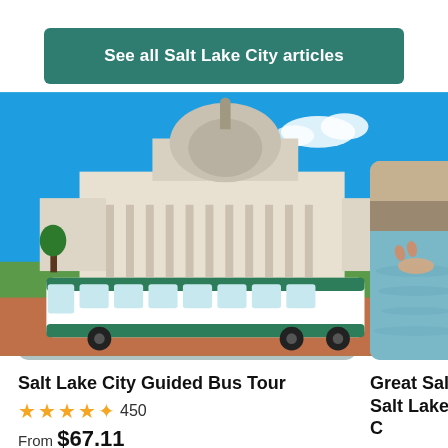See all Salt Lake City articles
Top activities in Salt Lake City
[Figure (photo): Photo of Salt Lake City State Capitol building with a green and white bus in the foreground]
Salt Lake City Guided Bus Tour
★★★★½ 450
From $67.11
[Figure (photo): Photo of person floating in the Great Salt Lake]
Great Salt Lake Salt Lake C...
★★★★½